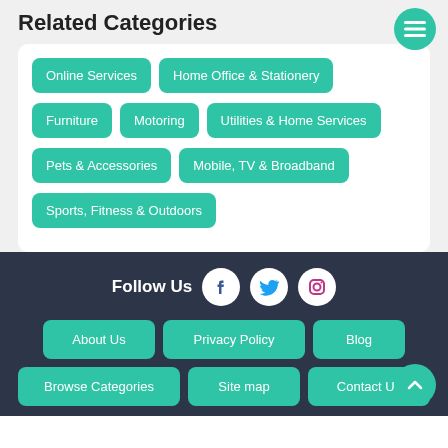Related Categories
Online Services
Home Office & Stationery
Furniture
Motoring
Utilities & Home Services
Pets & Accessories
Mobile, TV & Broadband
Sports, Fitness & Outdoors
Follow Us
About Us
Privacy Policy
Blog
Browse Categories
Site map
Contact Us